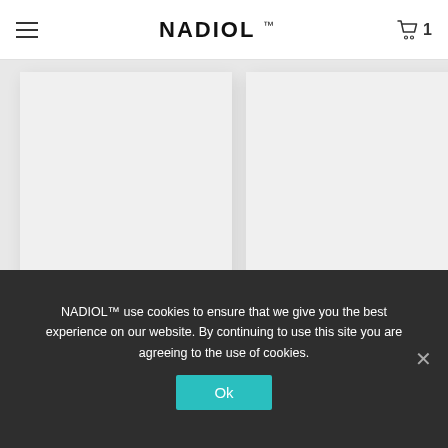NADIOL™
[Figure (photo): Two white product boxes labeled '250 Mg, 60 Capsules | e Net Weight 15g, Dietary Food Supplement' shown side by side on a light gray background]
NADIOL™ use cookies to ensure that we give you the best experience on our website. By continuing to use this site you are agreeing to the use of cookies.
Ok